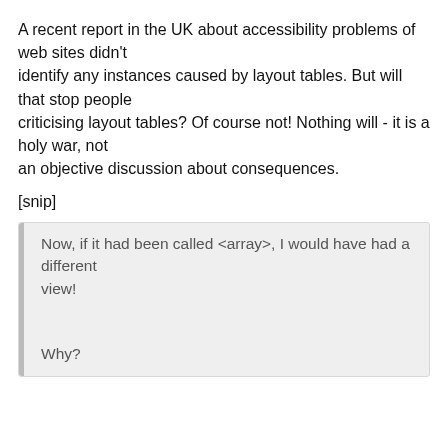A recent report in the UK about accessibility problems of web sites didn't identify any instances caused by layout tables. But will that stop people criticising layout tables? Of course not! Nothing will - it is a holy war, not an objective discussion about consequences.
[snip]
Now, if it had been called <array>, I would have had a different view!
Why?